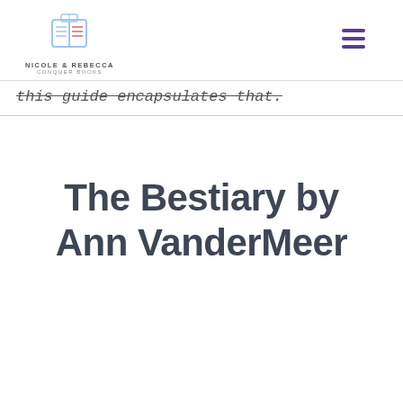NICOLE & REBECCA CONQUER BOOKS
this guide encapsulates that.
The Bestiary by Ann VanderMeer